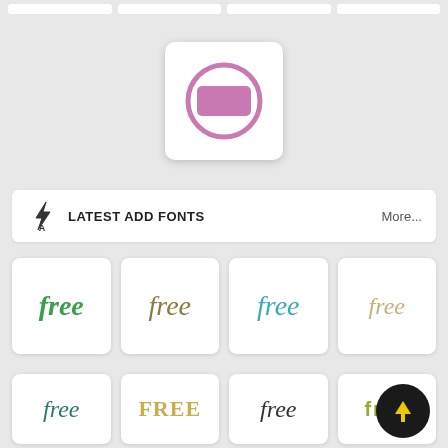[Figure (screenshot): Top strip with four white rounded card placeholders on grey background]
[Figure (illustration): White card with rounded purple circle outline containing a mauve/rose rectangle in the center, representing a font style preview icon]
LATEST ADD FONTS   More...
[Figure (illustration): Grid of font preview cards each showing the word 'free' in various typefaces: green italic sans, olive green italic serif, teal italic sans, gold/tan cursive script]
[Figure (illustration): Second row of font preview cards showing 'free' or 'FREE' in: dark teal italic, gold uppercase serif, black italic, olive green block letters — partially visible]
[Figure (illustration): Black circular FAB button with yellow upward arrow]